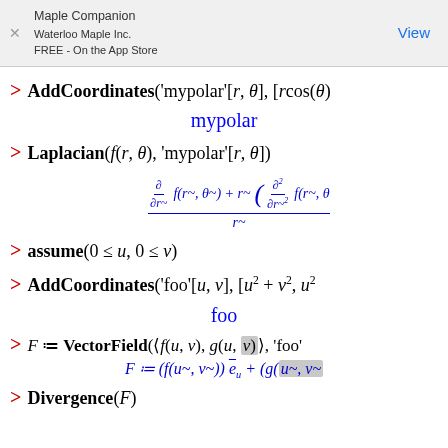Maple Companion / Waterloo Maple Inc. / FREE - On the App Store / View
mypolar
foo